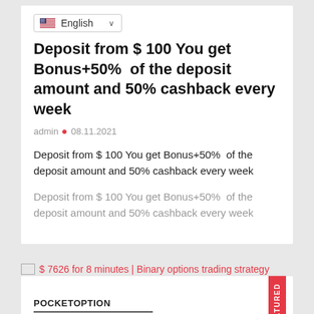[Figure (other): English language selector dropdown with US flag icon]
Deposit from $ 100 You get Bonus+50%  of the deposit amount and 50% cashback every week
admin  •  08.11.2021
Deposit from $ 100 You get Bonus+50%  of the deposit amount and 50% cashback every week
Deposit from $ 100 You get Bonus+50%  of the deposit amount and 50% cashback every week
$ 7626 for 8 minutes | Binary options trading strategy
POCKETOPTION
$ 7626 for 8 minutes | Binary options